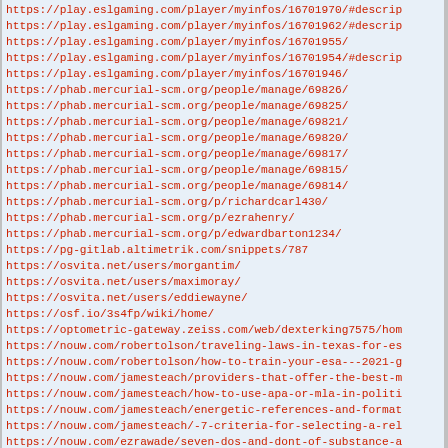https://play.eslgaming.com/player/myinfos/16701970/#descrip
https://play.eslgaming.com/player/myinfos/16701962/#descrip
https://play.eslgaming.com/player/myinfos/16701955/
https://play.eslgaming.com/player/myinfos/16701954/#descrip
https://play.eslgaming.com/player/myinfos/16701946/
https://phab.mercurial-scm.org/people/manage/69826/
https://phab.mercurial-scm.org/people/manage/69825/
https://phab.mercurial-scm.org/people/manage/69821/
https://phab.mercurial-scm.org/people/manage/69820/
https://phab.mercurial-scm.org/people/manage/69817/
https://phab.mercurial-scm.org/people/manage/69815/
https://phab.mercurial-scm.org/people/manage/69814/
https://phab.mercurial-scm.org/p/richardcarl430/
https://phab.mercurial-scm.org/p/ezrahenry/
https://phab.mercurial-scm.org/p/edwardbarton1234/
https://pg-gitlab.altimetrik.com/snippets/787
https://osvita.net/users/morgantim/
https://osvita.net/users/maximoray/
https://osvita.net/users/eddiewayne/
https://osf.io/3s4fp/wiki/home/
https://optometric-gateway.zeiss.com/web/dexterking7575/hom
https://nouw.com/robertolson/traveling-laws-in-texas-for-es
https://nouw.com/robertolson/how-to-train-your-esa---2021-g
https://nouw.com/jamesteach/providers-that-offer-the-best-m
https://nouw.com/jamesteach/how-to-use-apa-or-mla-in-politi
https://nouw.com/jamesteach/energetic-references-and-format
https://nouw.com/jamesteach/-7-criteria-for-selecting-a-rel
https://nouw.com/ezrawade/seven-dos-and-dont-of-substance-a
https://nouw.com/ezrawade/rules-on-a-subject-verb-agreement